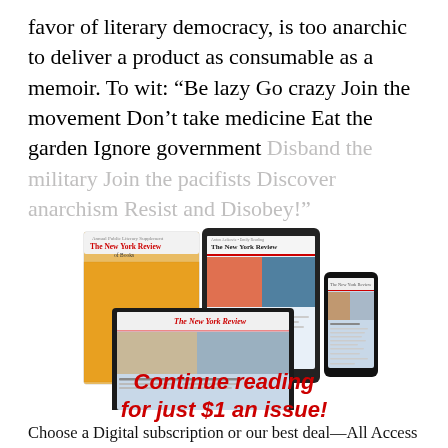favor of literary democracy, is too anarchic to deliver a product as consumable as a memoir. To wit: “Be lazy Go crazy Join the movement Don’t take medicine Eat the garden Ignore government Disband the military Join the pacifists Discover anarchism Resist and Disobey!”
[Figure (illustration): Devices showing The New York Review of Books: a print magazine, a tablet, a laptop, and a smartphone, all displaying NYRB content.]
Continue reading for just $1 an issue!
Choose a Digital subscription or our best deal—All Access